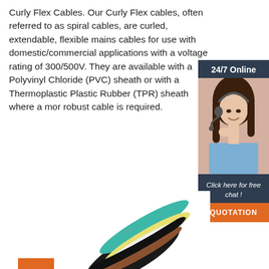Curly Flex Cables. Our Curly Flex cables, often referred to as spiral cables, are curled, extendable, flexible mains cables for use with domestic/commercial applications with a voltage rating of 300/500V. They are available with a Polyvinyl Chloride (PVC) sheath or with a Thermoplastic Rubber (TPR) sheath where a more robust cable is required.
[Figure (other): Orange 'Get Price' button]
[Figure (photo): Customer service representative with headset, with '24/7 Online' header, 'Click here for free chat!' text and 'QUOTATION' orange button on dark blue sidebar widget]
[Figure (photo): Close-up photo of curly flex cables showing multiple colored wires including teal, yellow, white, brown and black]